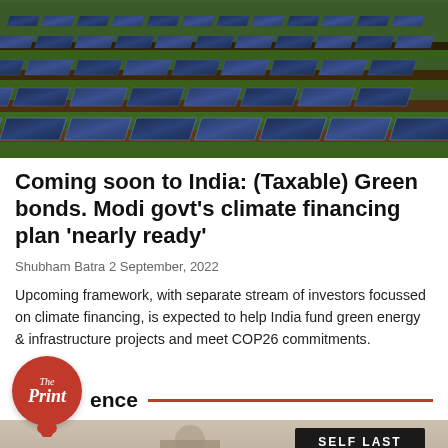[Figure (photo): Aerial view of solar panels arranged in rows on a field with green vegetation between rows]
Coming soon to India: (Taxable) Green bonds. Modi govt's climate financing plan 'nearly ready'
Shubham Batra 2 September, 2022
Upcoming framework, with separate stream of investors focussed on climate financing, is expected to help India fund green energy & infrastructure projects and meet COP26 commitments.
[Figure (logo): The Print logo - circular orange/red badge with italic text 'The Print']
ence
[Figure (photo): Bottom portion of a photograph showing a person, partially visible, with a sign reading 'SELF LAST' in background]